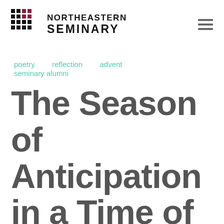[Figure (logo): Northeastern Seminary logo: grid cross icon in black and maroon, with NORTHEASTERN SEMINARY text in bold uppercase]
poetry   reflection   advent
seminary alumni
The Season of Anticipation in a Time of